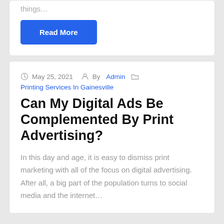things...
Read More
May 25, 2021  By Admin  Printing Services In Gainesville
Can My Digital Ads Be Complemented By Print Advertising?
In this day and age, it is easy to dismiss print marketing with all of the focus on digital advertising. After all, a big part of the population turns to social media and the internet…